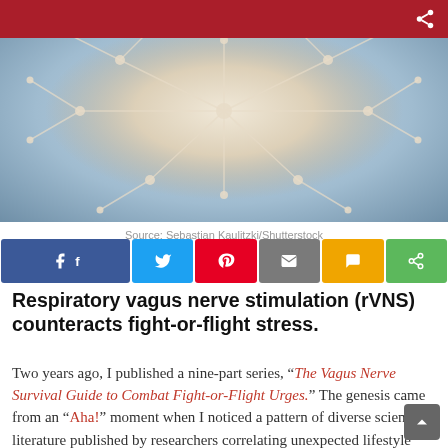[Figure (photo): Abstract neural/nerve network illustration with blue and cream tones, symmetrical pattern resembling a nervous system or brain structure]
Source: Sebastian Kaulitzki/Shutterstock
[Figure (infographic): Social media sharing buttons row: Facebook (blue), Twitter (light blue), Pinterest (red), Email (grey), SMS (yellow), Share (green)]
Respiratory vagus nerve stimulation (rVNS) counteracts fight-or-flight stress.
Two years ago, I published a nine-part series, “The Vagus Nerve Survival Guide to Combat Fight-or-Flight Urges.” The genesis came from an “Aha!” moment when I noticed a pattern of diverse scientific literature published by researchers correlating unexpected lifestyle factors (e.g., positive social connections (Kok et al., 2013), narrative